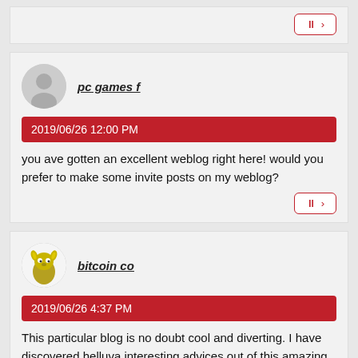[Figure (other): Partial top comment card with reply button only visible]
pc games f
2019/06/26 12:00 PM
you ave gotten an excellent weblog right here! would you prefer to make some invite posts on my weblog?
[Figure (other): Reply button with pause and arrow icons]
bitcoin co
2019/06/26 4:37 PM
This particular blog is no doubt cool and diverting. I have discovered helluva interesting advices out of this amazing blog.